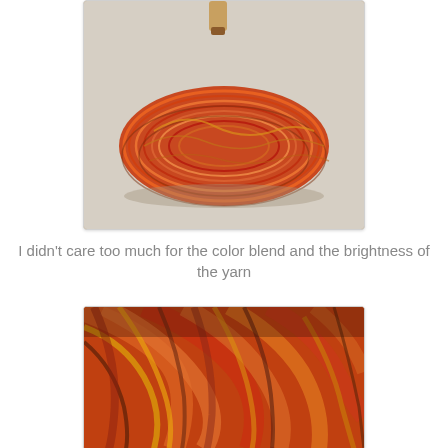[Figure (photo): A skein of variegated yarn in shades of orange, red, brown, and golden yellow laid on a white cloth surface, with a wooden tool visible in the background.]
I didn't care too much for the color blend and the brightness of the yarn
[Figure (photo): Close-up photo of the same variegated yarn showing twisted strands in colors of orange, red, yellow, and brown.]